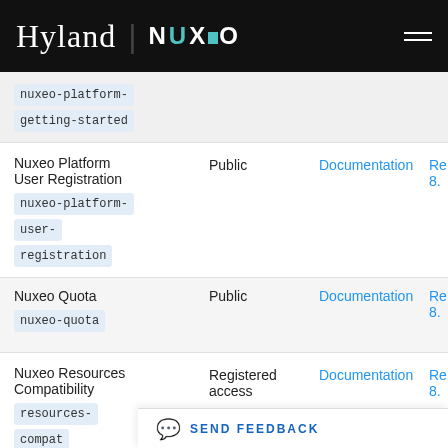Hyland | NUXEO
| Name | Access | Documentation | Release |
| --- | --- | --- | --- |
| nuxeo-platform-getting-started |  |  |  |
| Nuxeo Platform User Registration
nuxeo-platform-user-registration | Public | Documentation | Re
8. |
| Nuxeo Quota
nuxeo-quota | Public | Documentation | Re
8. |
| Nuxeo Resources Compatibility
resources-compat | Registered access | Documentation | Re
8. |
| Nuxeo Sample
nuxeo-sample | Public |  | Re
8. |